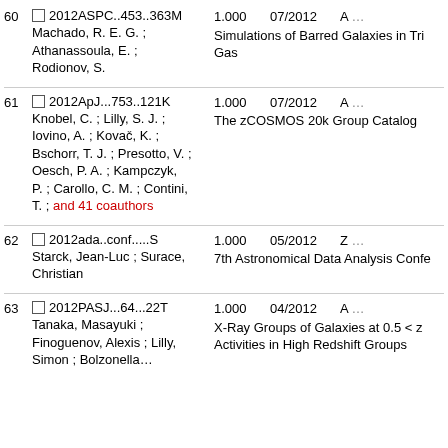60 2012ASPC..453..363M 1.000 07/2012 A Machado, R. E. G. ; Athanassoula, E. ; Rodionov, S. Simulations of Barred Galaxies in Tri Gas
61 2012ApJ...753..121K 1.000 07/2012 A Knobel, C. ; Lilly, S. J. ; Iovino, A. ; Kovač, K. ; Bschorr, T. J. ; Presotto, V. ; Oesch, P. A. ; Kampczyk, P. ; Carollo, C. M. ; Contini, T. ; and 41 coauthors The zCOSMOS 20k Group Catalog
62 2012ada..conf.....S 1.000 05/2012 Z Starck, Jean-Luc ; Surace, Christian 7th Astronomical Data Analysis Confe
63 2012PASJ...64...22T 1.000 04/2012 A Tanaka, Masayuki ; Finoguenov, Alexis ; Lilly, Simon ; Bolzonella X-Ray Groups of Galaxies at 0.5 < z Activities in High Redshift Groups